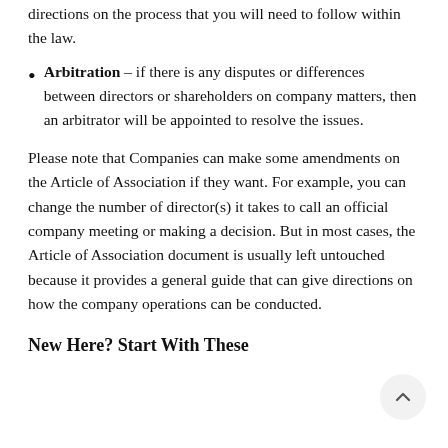directions on the process that you will need to follow within the law.
Arbitration – if there is any disputes or differences between directors or shareholders on company matters, then an arbitrator will be appointed to resolve the issues.
Please note that Companies can make some amendments on the Article of Association if they want. For example, you can change the number of director(s) it takes to call an official company meeting or making a decision. But in most cases, the Article of Association document is usually left untouched because it provides a general guide that can give directions on how the company operations can be conducted.
New Here? Start With These